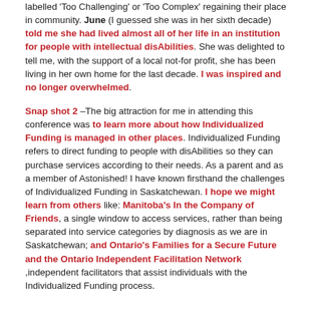labelled 'Too Challenging' or 'Too Complex' regaining their place in community. June (I guessed she was in her sixth decade) told me she had lived almost all of her life in an institution for people with intellectual disAbilities. She was delighted to tell me, with the support of a local not-for profit, she has been living in her own home for the last decade. I was inspired and no longer overwhelmed.
Snap shot 2 –The big attraction for me in attending this conference was to learn more about how Individualized Funding is managed in other places. Individualized Funding refers to direct funding to people with disAbilities so they can purchase services according to their needs. As a parent and as a member of Astonished! I have known firsthand the challenges of Individualized Funding in Saskatchewan. I hope we might learn from others like: Manitoba's In the Company of Friends, a single window to access services, rather than being separated into service categories by diagnosis as we are in Saskatchewan; and Ontario's Families for a Secure Future and the Ontario Independent Facilitation Network ,independent facilitators that assist individuals with the Individualized Funding process.